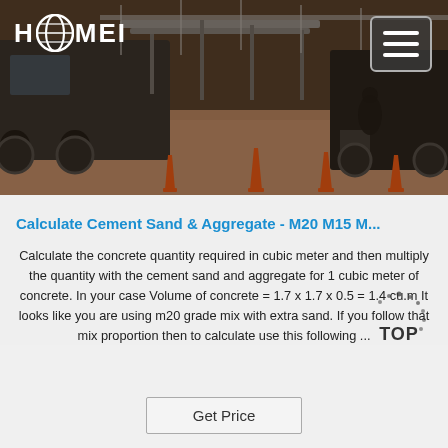[Figure (photo): Header banner showing construction/concrete machinery (mobile concrete batching plant) with HAOMEI logo on the left and a hamburger menu icon on the upper right. The background shows industrial equipment and a ground surface with orange traffic cones.]
Calculate Cement Sand & Aggregate - M20 M15 M...
Calculate the concrete quantity required in cubic meter and then multiply the quantity with the cement sand and aggregate for 1 cubic meter of concrete. In your case Volume of concrete = 1.7 x 1.7 x 0.5 = 1.4 cu.m It looks like you are using m20 grade mix with extra sand. If you follow that mix proportion then to calculate use this following ...
Get Price